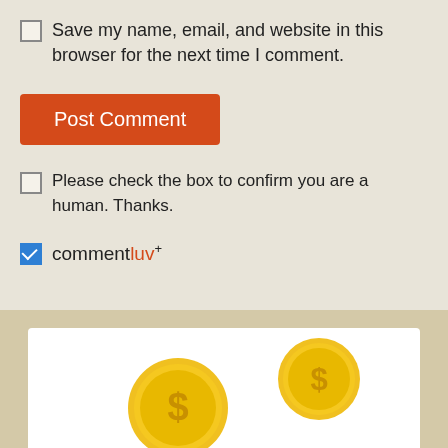Save my name, email, and website in this browser for the next time I comment.
Post Comment
Please check the box to confirm you are a human. Thanks.
commentluv+
[Figure (illustration): Two gold dollar coins partially visible at the bottom of the page on a white background within a beige-bordered card]